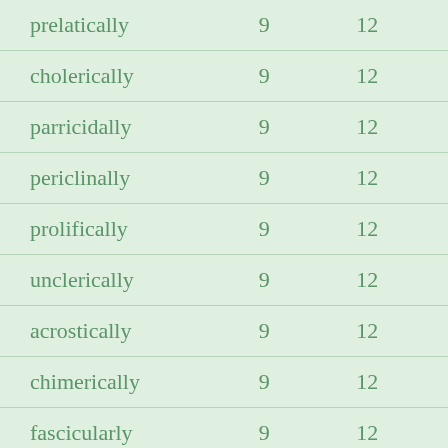| prelatically | 9 | 12 |
| cholerically | 9 | 12 |
| parricidally | 9 | 12 |
| periclinally | 9 | 12 |
| prolifically | 9 | 12 |
| unclerically | 9 | 12 |
| acrostically | 9 | 12 |
| chimerically | 9 | 12 |
| fascicularly | 9 | 12 |
| lenticularly | 9 | 12 |